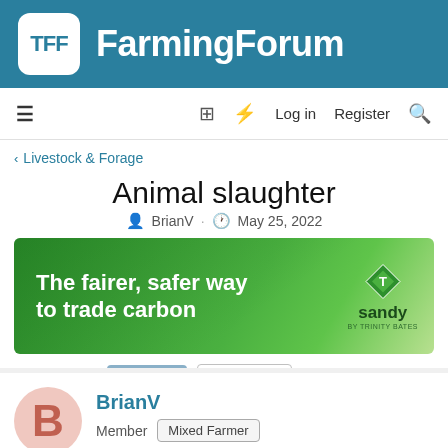TFF FarmingForum
[Figure (logo): TFF FarmingForum logo with white TFF icon in rounded square and white FarmingForum text on teal background]
≡  🔖 ⚡ Log in  Register 🔍
< Livestock & Forage
Animal slaughter
BrianV · May 25, 2022
[Figure (infographic): Green advertisement banner: 'The fairer, safer way to trade carbon' with sandy by Trinity Bates logo on right]
1 of 6  Next ▶  ▶▶
BrianV
Member  Mixed Farmer